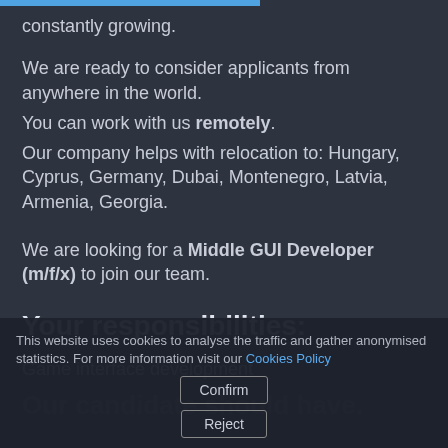constantly growing.
We are ready to consider applicants from anywhere in the world.
You can work with us remotely.
Our company helps with relocation to: Hungary, Cyprus, Germany, Dubai, Montenegro, Latvia, Armenia, Georgia.
We are looking for a Middle GUI Developer (m/f/x) to join our team.
Your responsibilities:
Game interface development
Our candidate should have.
This website uses cookies to analyse the traffic and gather anonymised statistics. For more information visit our Cookies Policy
Confirm
Reject